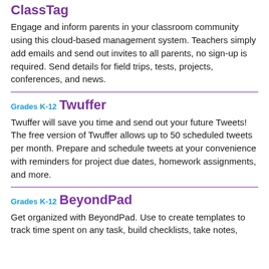ClassTag
Engage and inform parents in your classroom community using this cloud-based management system. Teachers simply add emails and send out invites to all parents, no sign-up is required. Send details for field trips, tests, projects, conferences, and news.
Grades K-12
Twuffer
Twuffer will save you time and send out your future Tweets! The free version of Twuffer allows up to 50 scheduled tweets per month. Prepare and schedule tweets at your convenience with reminders for project due dates, homework assignments, and more.
Grades K-12
BeyondPad
Get organized with BeyondPad. Use to create templates to track time spent on any task, build checklists, take notes,